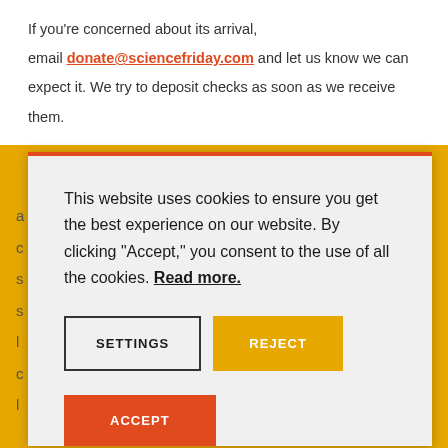If you're concerned about its arrival, email donate@sciencefriday.com and let us know we can expect it. We try to deposit checks as soon as we receive them.
[Figure (screenshot): Cookie consent modal dialog with orange top border. Contains message: 'This website uses cookies to ensure you get the best experience on our website. By clicking "Accept," you consent to the use of all the cookies. Read more.' Three buttons: SETTINGS (outlined), REJECT (yellow/amber), and partially visible ACCEPT (red/orange).]
Send a check. If the donation is critical for your...